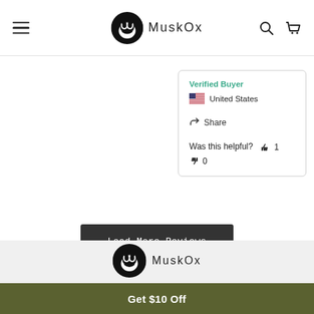MuskOx navigation header with hamburger menu, logo, search and cart icons
Verified Buyer
United States
Share
Was this helpful?  👍 1
👎 0
Load More Reviews
[Figure (logo): MuskOx logo - circular musk ox head illustration in black and white with text MUSKOX]
Get $10 Off